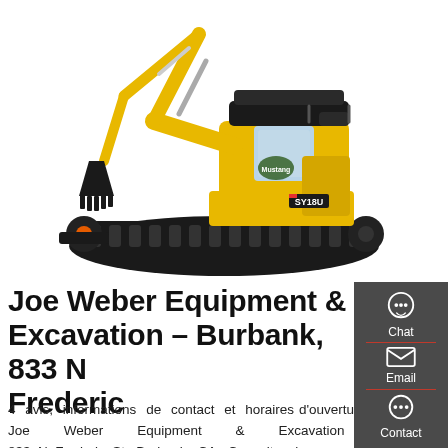[Figure (photo): Yellow mini excavator (SY18U) with black tracks and bucket attachment, on white background]
Joe Weber Equipment & Excavation – Burbank, 833 N Frederic
[Figure (infographic): Dark grey sidebar with Chat (headset icon), Email (envelope icon), and Contact (speech bubble icon) buttons separated by red dividers]
4 avis, informations de contact et horaires d'ouverture de Joe Weber Equipment & Excavation à 833 N Frederic St, Burbank, CA. Consultez les...